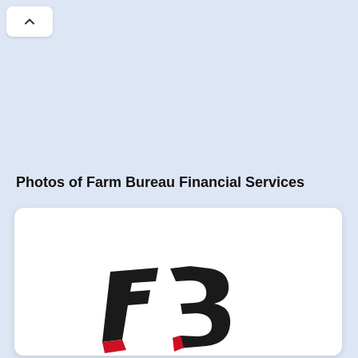[Figure (other): Back navigation button with up/chevron arrow icon]
Photos of Farm Bureau Financial Services
[Figure (logo): Farm Bureau Financial Services logo — stylized FB letters in black with red accent, partially visible at bottom of white card]